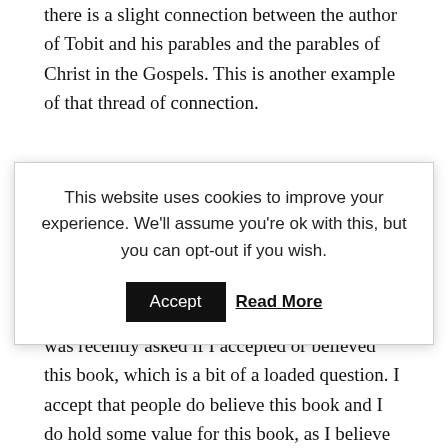there is a slight connection between the author of Tobit and his parables and the parables of Christ in the Gospels. This is another example of that thread of connection.
This is not to say that Tobit is any more inspired
This website uses cookies to improve your experience. We'll assume you're ok with this, but you can opt-out if you wish. Accept Read More
Tobit was blind, poor, and that Sarah was about to leave her bloodline without an heir).  I was recently asked if I accepted or believed this book, which is a bit of a loaded question. I accept that people do believe this book and I do hold some value for this book, as I believe that some of the thoughts, the